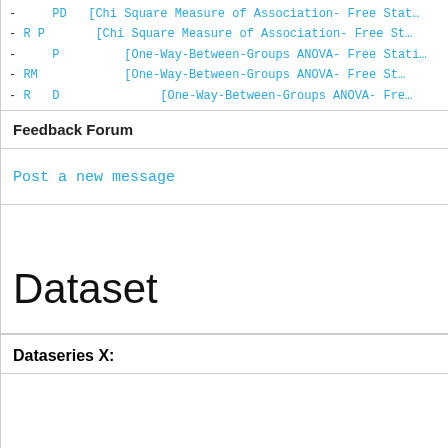- PD [Chi Square Measure of Association- Free Stat...
- R P [Chi Square Measure of Association- Free St...
- P [One-Way-Between-Groups ANOVA- Free Stati...
- RM [One-Way-Between-Groups ANOVA- Free St...
- R D [One-Way-Between-Groups ANOVA- Fre...
Feedback Forum
Post a new message
Dataset
Dataseries X: